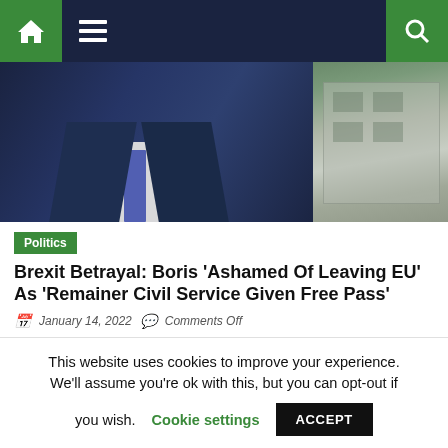Navigation bar with home, menu, and search icons
[Figure (photo): Hero image showing a person in a dark navy suit with blue tie on the left, and an aerial view of a building on the right, against a dark blue background]
Politics
Brexit Betrayal: Boris 'Ashamed Of Leaving EU' As 'Remainer Civil Service Given Free Pass'
January 14, 2022   Comments Off
Boris Johnson apology: Nick Robinson grills Brandon Lewis
This website uses cookies to improve your experience. We'll assume you're ok with this, but you can opt-out if you wish. Cookie settings ACCEPT